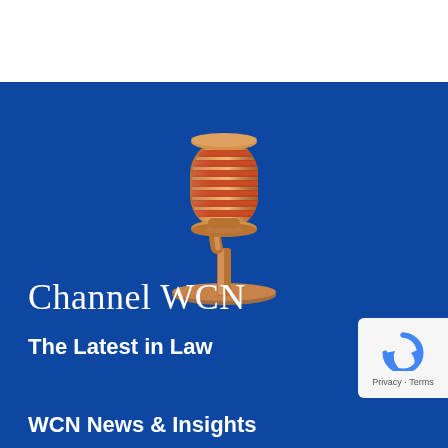[Figure (illustration): Golden/bronze vintage microphone on a stand against a blue background]
Channel WCN
The Latest in Law
WCN News & Insights
[Figure (logo): reCAPTCHA logo with Privacy - Terms text]